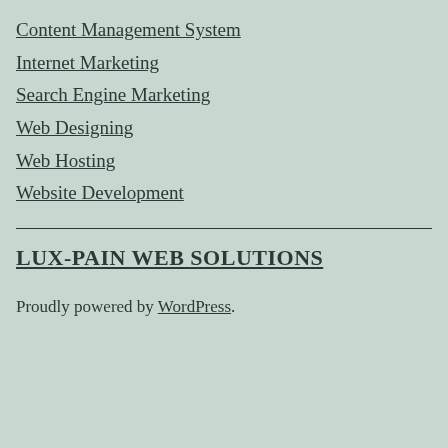Content Management System
Internet Marketing
Search Engine Marketing
Web Designing
Web Hosting
Website Development
LUX-PAIN WEB SOLUTIONS
Proudly powered by WordPress.